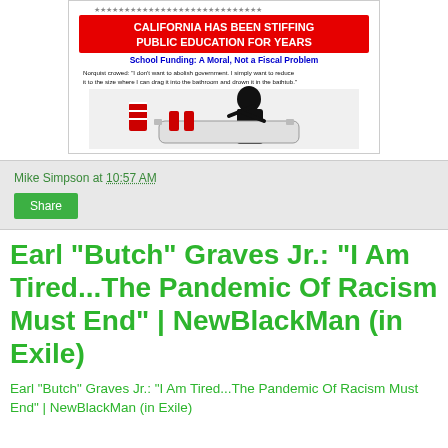[Figure (screenshot): Screenshot of a blog post image about California school funding, featuring text: 'CALIFORNIA HAS BEEN STIFFING PUBLIC EDUCATION FOR YEARS', 'School Funding: A Moral, Not a Fiscal Problem', and a Norquist quote about drowning government in a bathtub, with a political cartoon of a figure being drowned.]
Mike Simpson at 10:57 AM
Share
Earl "Butch" Graves Jr.: "I Am Tired...The Pandemic Of Racism Must End" | NewBlackMan (in Exile)
Earl "Butch" Graves Jr.: "I Am Tired...The Pandemic Of Racism Must End" | NewBlackMan (in Exile)